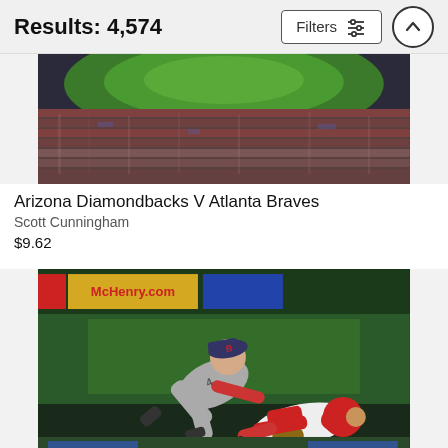Results: 4,574
[Figure (photo): Wide-angle panoramic photo of a baseball stadium filled with spectators, showing the field with green grass and crowds in red and blue clothing]
Arizona Diamondbacks V Atlanta Braves
Scott Cunningham
$9.62
[Figure (photo): Action photo of a baseball play at second base: a bearded player in gray uniform with red sleeves diving/leaning over a player in red and white uniform sliding into base, with colorful stadium advertisements in background]